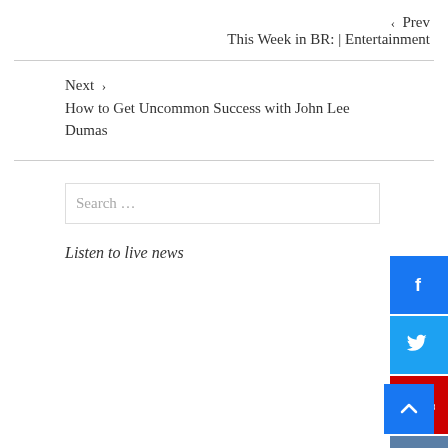‹  Prev
This Week in BR: | Entertainment
Next ›
How to Get Uncommon Success with John Lee Dumas
Search …
Listen to live news
[Figure (other): Facebook share button (blue square with white f icon)]
[Figure (other): Twitter share button (blue square with white bird icon)]
[Figure (other): YouTube share button (red square with white YouTube logo)]
[Figure (other): Instagram button (dark blue-grey square with white camera icon)]
[Figure (other): Back to top button (blue square with white up chevron)]